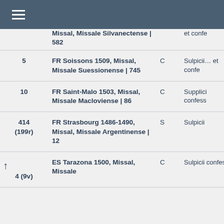| # | Title | Type | Text |
| --- | --- | --- | --- |
|  | Missal, Missale Silvanectense | 582 |  | et confe… |
| 5 | FR Soissons 1509, Missal, Missale Suessionense | 745 | C | Sulpicii… et confe… |
| 10 | FR Saint-Malo 1503, Missal, Missale Macloviense | 86 | C | Supplici confess… |
| 414 (199r) | FR Strasbourg 1486-1490, Missal, Missale Argentinense | 12 | S | Sulpicii… |
| 4 (9v) | ES Tarazona 1500, Missal, Missale … | C | Sulpicii confess… |